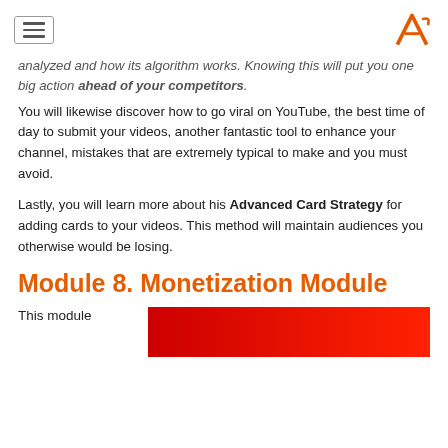[menu icon] [logo A]
analyzed and how its algorithm works. Knowing this will put you one big action ahead of your competitors.
You will likewise discover how to go viral on YouTube, the best time of day to submit your videos, another fantastic tool to enhance your channel, mistakes that are extremely typical to make and you must avoid.
Lastly, you will learn more about his Advanced Card Strategy for adding cards to your videos. This method will maintain audiences you otherwise would be losing.
Module 8. Monetization Module
This module